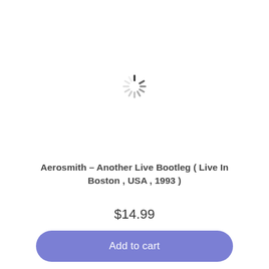[Figure (other): A spinning loading indicator (circular spinner) rendered as an SVG, showing radial dashes in varying shades from light gray to dark gray/black, indicating a loading state.]
Aerosmith – Another Live Bootleg ( Live In Boston , USA , 1993 )
$14.99
Add to cart